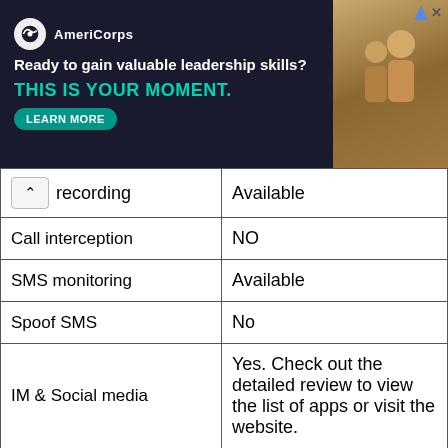[Figure (other): AmeriCorps advertisement banner: 'Ready to gain valuable leadership skills? THIS IS YOUR MOMENT.' with a LEARN MORE button and a photo of people on the right.]
| Feature | Status |
| --- | --- |
| recording | Available |
| Call interception | NO |
| SMS monitoring | Available |
| Spoof SMS | No |
| IM & Social media | Yes. Check out the detailed review to view the list of apps or visit the website. |
| GPS tracking | Available |
| Geofencing | Available |
| Email access | Available |
| Photos | Available |
| Videos | Available |